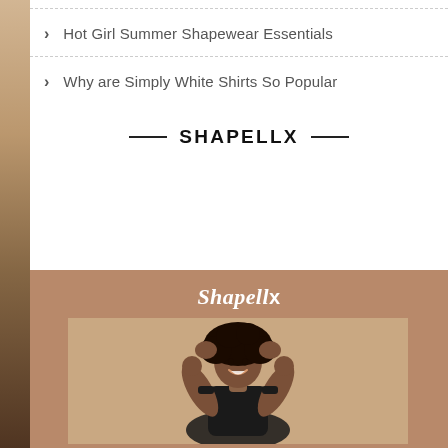Hot Girl Summer Shapewear Essentials
Why are Simply White Shirts So Popular
— SHAPELLX —
[Figure (photo): Shapellx brand advertisement showing a plus-size Black woman smiling with hands raised in her hair, wearing a black tank top, against a warm beige/brown background with the Shapellx logo above.]